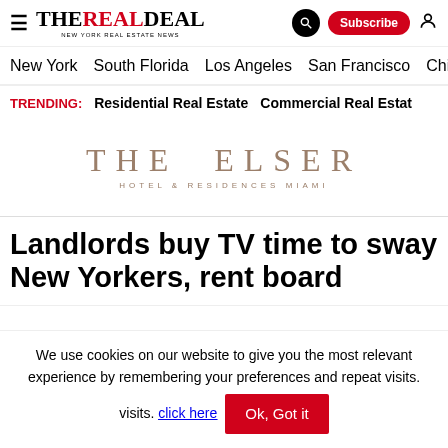The Real Deal — New York Real Estate News — Navigation: New York, South Florida, Los Angeles, San Francisco, Chicago
TRENDING: Residential Real Estate   Commercial Real Estate
[Figure (logo): The Elser Hotel & Residences Miami advertisement banner]
Landlords buy TV time to sway New Yorkers, rent board
We use cookies on our website to give you the most relevant experience by remembering your preferences and repeat visits. click here   Ok, Got it